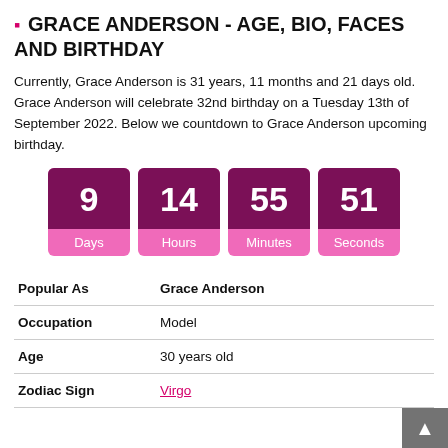⬛ GRACE ANDERSON - AGE, BIO, FACES AND BIRTHDAY
Currently, Grace Anderson is 31 years, 11 months and 21 days old. Grace Anderson will celebrate 32nd birthday on a Tuesday 13th of September 2022. Below we countdown to Grace Anderson upcoming birthday.
[Figure (infographic): Countdown timer showing 9 Days, 14 Hours, 55 Minutes, 51 Seconds in pink/magenta colored cards]
| Popular As | Grace Anderson |
| Occupation | Model |
| Age | 30 years old |
| Zodiac Sign | Virgo |